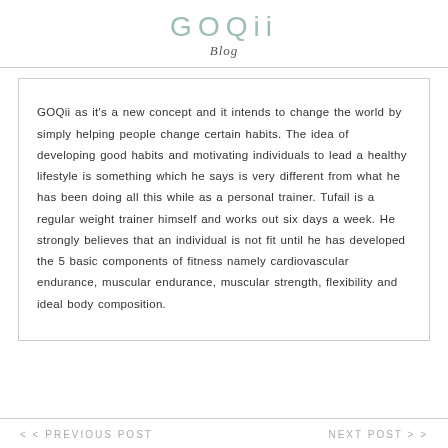GOQii
Blog
GOQii as it's a new concept and it intends to change the world by simply helping people change certain habits. The idea of developing good habits and motivating individuals to lead a healthy lifestyle is something which he says is very different from what he has been doing all this while as a personal trainer. Tufail is a regular weight trainer himself and works out six days a week. He strongly believes that an individual is not fit until he has developed the 5 basic components of fitness namely cardiovascular endurance, muscular endurance, muscular strength, flexibility and ideal body composition.
< < PREVIOUS POST    NEXT POST > >